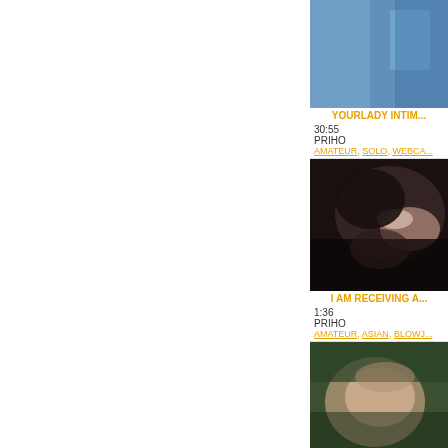[Figure (screenshot): Partial view of a video thumbnail - top portion cropped, blue tones visible]
YOURLADY INTIM...
30:55
PRIHO
AMATEUR, SOLO, WEBCA...
[Figure (screenshot): Video thumbnail showing close-up faces]
I AM RECEIVING A...
1:36
PRIHO
AMATEUR, ASIAN, BLOWJ...
[Figure (screenshot): Video thumbnail showing person with long hair outdoors]